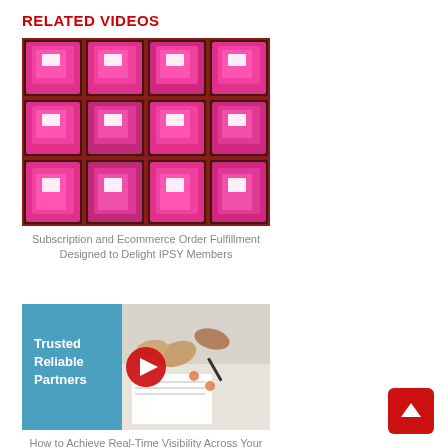RELATED VIDEOS
[Figure (photo): Shelves filled with bright pink packaged products/bags arranged in compartments, top view]
Subscription and Ecommerce Order Fulfillment Designed to Delight IPSY Members
[Figure (photo): Video thumbnail split: left side has teal background with white bold text 'Trusted Reliable Partners' and a red play button in the center; right side shows hands collaborating over documents]
How to Achieve Real-Time Visibility Across Your Supply Chain, Facilitate Cross Team Collaboration and Realize...